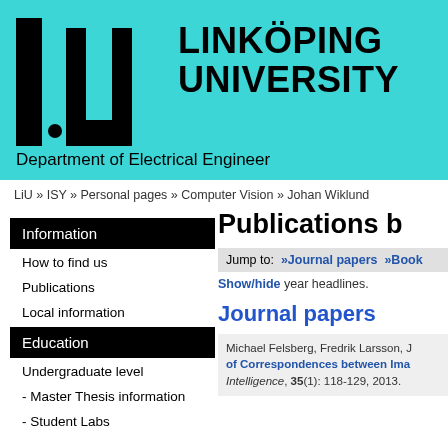[Figure (logo): Linköping University logo with LiU graphical mark and text 'LINKÖPING UNIVERSITY' on a teal/cyan background, with 'Department of Electrical Engineer' below]
LiU » ISY » Personal pages » Computer Vision » Johan Wiklund
Information
How to find us
Publications
Local information
Education
Undergraduate level
- Master Thesis information
- Student Labs
Publications b
Jump to:  »Journal papers  »Book
Show/hide year headlines.
Journal papers
Michael Felsberg, Fredrik Larsson, J... of Correspondences between Ima... Intelligence, 35(1): 118-129, 2013.